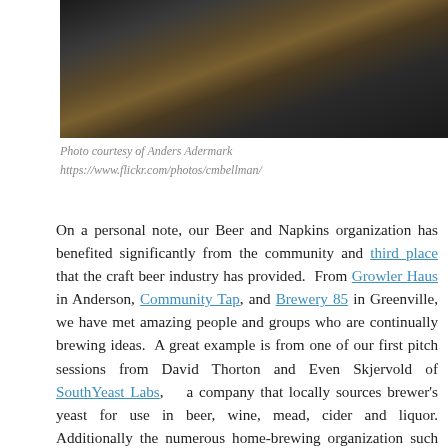[Figure (photo): Dark photo of a person at a bar counter with a beer glass, reflective surface visible]
Photo courtesy of Anders Adermark
https://www.flickr.com/photos/cmbellman/
On a personal note, our Beer and Napkins organization has benefited significantly from the community and third place that the craft beer industry has provided.  From Growler Haus in Anderson, Community Tap, and Brewery 85 in Greenville, we have met amazing people and groups who are continually brewing ideas.  A great example is from one of our first pitch sessions from David Thorton and Even Skjervold of SouthYeast Labs,   a company that locally sources brewer's yeast for use in beer, wine, mead, cider and liquor. Additionally the numerous home-brewing organization such as Just Brew It Anderson and Clemson Brew Crew have been